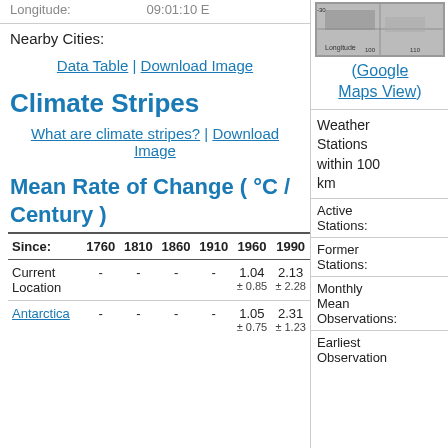Longitude: 09:01:10 E
Nearby Cities:
Data Table | Download Image
[Figure (map): Small map thumbnail showing longitude chart]
(Google Maps View)
Climate Stripes
What are climate stripes? | Download Image
Mean Rate of Change ( °C / Century )
| Since: | 1760 | 1810 | 1860 | 1910 | 1960 | 1990 |
| --- | --- | --- | --- | --- | --- | --- |
| Current Location | - | - | - | - | 1.04
± 0.85 | 2.13
± 2.28 |
| Antarctica | - | - | - | - | 1.05
± 0.75 | 2.31
± 1.23 |
Weather Stations within 100 km
Active Stations:
Former Stations:
Monthly Mean Observations:
Earliest Observation